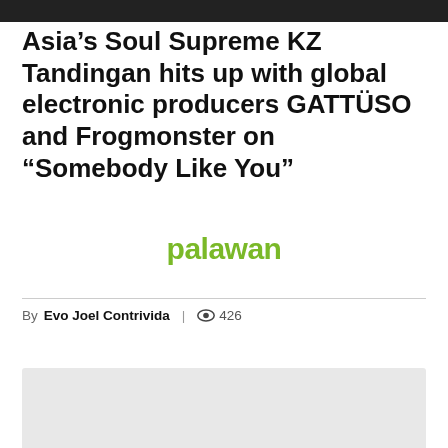[Figure (photo): Dark image bar at top of page]
Asia’s Soul Supreme KZ Tandingan hits up with global electronic producers GATTÜSO and Frogmonster on “Somebody Like You”
[Figure (logo): palawan logo in green text]
By Evo Joel Contrivida | 👁 426
HOW DO YOU FEEL ABOUT THIS STORY?